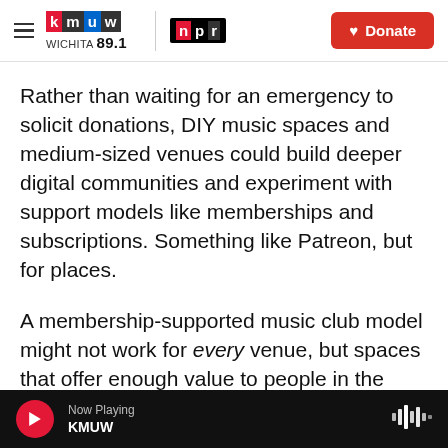KMUW WICHITA 89.1 | NPR | Donate
Rather than waiting for an emergency to solicit donations, DIY music spaces and medium-sized venues could build deeper digital communities and experiment with support models like memberships and subscriptions. Something like Patreon, but for places.
A membership-supported music club model might not work for every venue, but spaces that offer enough value to people in the community may well find a sustainable source of revenue. In some places, this model of community-based support
Now Playing KMUW